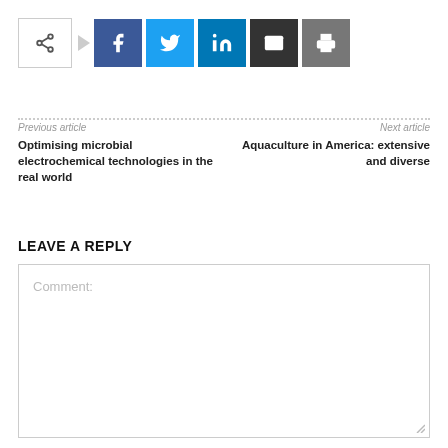[Figure (other): Social share bar with share icon toggle, Facebook, Twitter, LinkedIn, email, and print buttons]
Previous article
Optimising microbial electrochemical technologies in the real world
Next article
Aquaculture in America: extensive and diverse
LEAVE A REPLY
Comment: